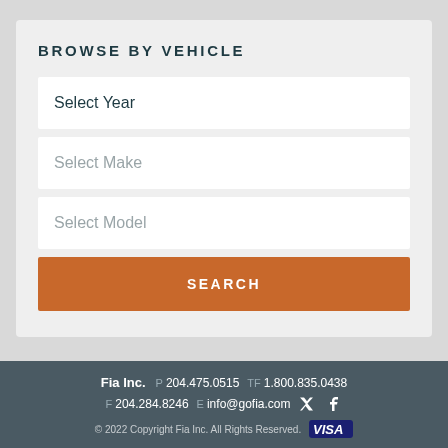BROWSE BY VEHICLE
Select Year
Select Make
Select Model
SEARCH
Fia Inc.  P 204.475.0515  TF 1.800.835.0438  F 204.284.8246  E info@gofia.com  © 2022 Copyright Fia Inc. All Rights Reserved.